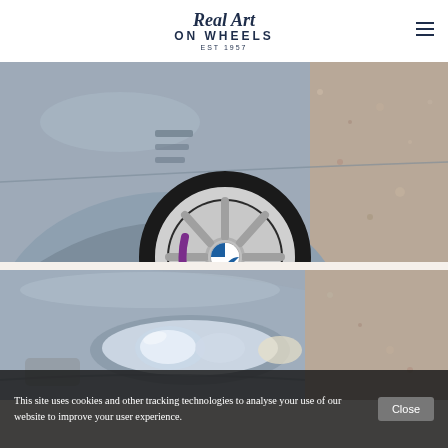Real Art ON WHEELS EST 1957
[Figure (photo): Close-up of silver BMW front fender and alloy wheel with purple brake calipers on gravel background]
[Figure (photo): Close-up of silver BMW front headlights and bumper on gravel background]
This site uses cookies and other tracking technologies to analyse your use of our website to improve your user experience.
Close